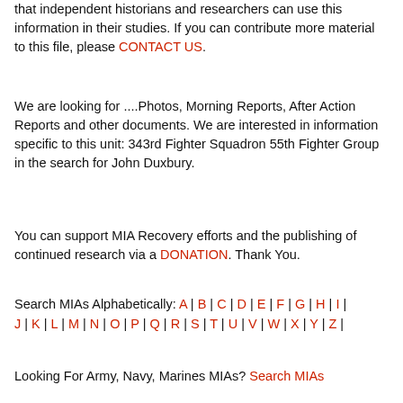that independent historians and researchers can use this information in their studies. If you can contribute more material to this file, please CONTACT US.
We are looking for ....Photos, Morning Reports, After Action Reports and other documents. We are interested in information specific to this unit: 343rd Fighter Squadron 55th Fighter Group in the search for John Duxbury.
You can support MIA Recovery efforts and the publishing of continued research via a DONATION. Thank You.
Search MIAs Alphabetically: A | B | C | D | E | F | G | H | I | J | K | L | M | N | O | P | Q | R | S | T | U | V | W | X | Y | Z |
Looking For Army, Navy, Marines MIAs? Search MIAs